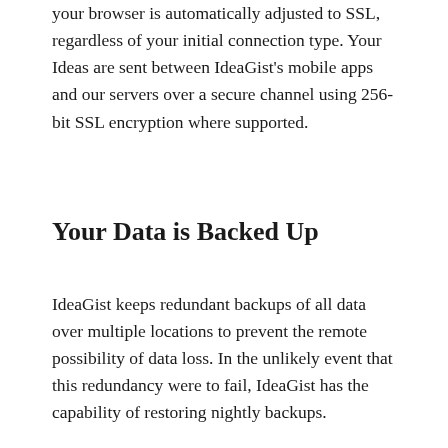your browser is automatically adjusted to SSL, regardless of your initial connection type. Your Ideas are sent between IdeaGist's mobile apps and our servers over a secure channel using 256-bit SSL encryption where supported.
Your Data is Backed Up
IdeaGist keeps redundant backups of all data over multiple locations to prevent the remote possibility of data loss. In the unlikely event that this redundancy were to fail, IdeaGist has the capability of restoring nightly backups.
Privacy
A copy of our full privacy policy can be found at: